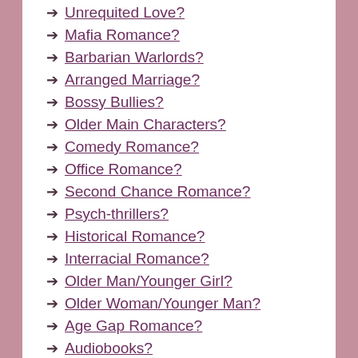Unrequited Love?
Mafia Romance?
Barbarian Warlords?
Arranged Marriage?
Bossy Bullies?
Older Main Characters?
Comedy Romance?
Office Romance?
Second Chance Romance?
Psych-thrillers?
Historical Romance?
Interracial Romance?
Older Man/Younger Girl?
Older Woman/Younger Man?
Age Gap Romance?
Audiobooks?
Reverse Harem?
A Broken Hero?
A Short Story?
Brother's Best Friend?
M/M Romance?